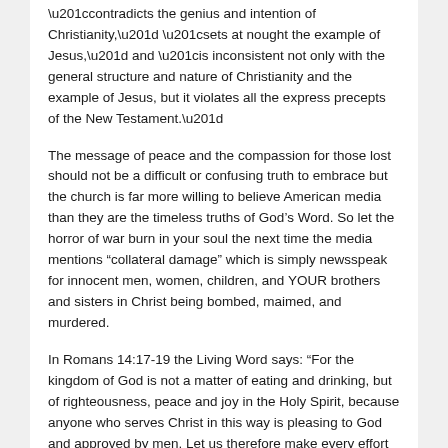“contradicts the genius and intention of Christianity,” “sets at nought the example of Jesus,” and “is inconsistent not only with the general structure and nature of Christianity and the example of Jesus, but it violates all the express precepts of the New Testament.”
The message of peace and the compassion for those lost should not be a difficult or confusing truth to embrace but the church is far more willing to believe American media than they are the timeless truths of God’s Word. So let the horror of war burn in your soul the next time the media mentions “collateral damage” which is simply newsspeak for innocent men, women, children, and YOUR brothers and sisters in Christ being bombed, maimed, and murdered.
In Romans 14:17-19 the Living Word says: “For the kingdom of God is not a matter of eating and drinking, but of righteousness, peace and joy in the Holy Spirit, because anyone who serves Christ in this way is pleasing to God and approved by men. Let us therefore make every effort to do what leads to peace and to mutual…